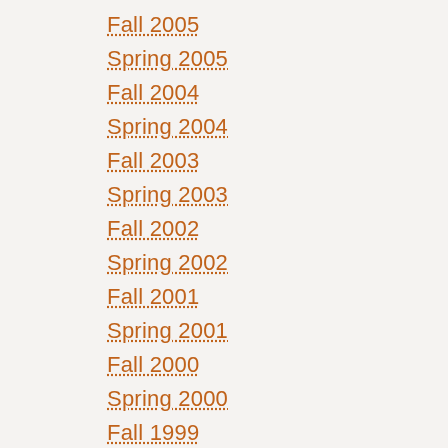Fall 2005
Spring 2005
Fall 2004
Spring 2004
Fall 2003
Spring 2003
Fall 2002
Spring 2002
Fall 2001
Spring 2001
Fall 2000
Spring 2000
Fall 1999
Spring 1999